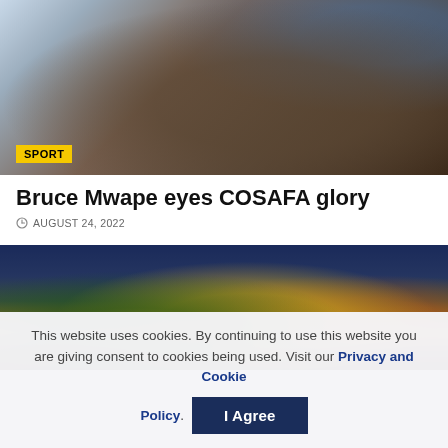[Figure (photo): Close-up photo of a person in a grey hoodie holding a phone, with a water bottle visible in the background on green grass]
SPORT
Bruce Mwape eyes COSAFA glory
AUGUST 24, 2022
[Figure (photo): Women football players running on a pitch, wearing green, yellow, and red jerseys in a stadium with blue seats]
This website uses cookies. By continuing to use this website you are giving consent to cookies being used. Visit our Privacy and Cookie Policy.
I Agree